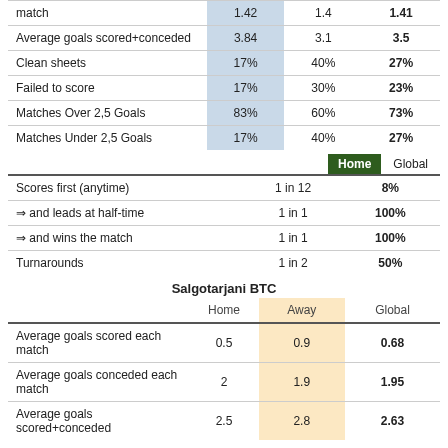|  | Home/Away/Global |  |  |
| --- | --- | --- | --- |
| Average goals scored+conceded | 3.84 | 3.1 | 3.5 |
| Clean sheets | 17% | 40% | 27% |
| Failed to score | 17% | 30% | 23% |
| Matches Over 2,5 Goals | 83% | 60% | 73% |
| Matches Under 2,5 Goals | 17% | 40% | 27% |
|  | Home | Global |
| --- | --- | --- |
| Scores first (anytime) | 1 in 12 | 8% |
| ⇒ and leads at half-time | 1 in 1 | 100% |
| ⇒ and wins the match | 1 in 1 | 100% |
| Turnarounds | 1 in 2 | 50% |
Salgotarjani BTC
|  | Home | Away | Global |
| --- | --- | --- | --- |
| Average goals scored each match | 0.5 | 0.9 | 0.68 |
| Average goals conceded each match | 2 | 1.9 | 1.95 |
| Average goals scored+conceded | 2.5 | 2.8 | 2.63 |